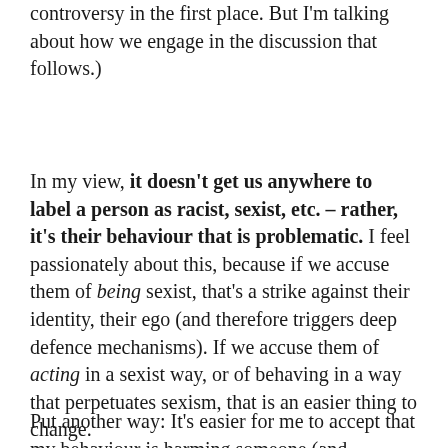controversy in the first place. But I'm talking about how we engage in the discussion that follows.)
In my view, it doesn't get us anywhere to label a person as racist, sexist, etc. – rather, it's their behaviour that is problematic. I feel passionately about this, because if we accuse them of being sexist, that's a strike against their identity, their ego (and therefore triggers deep defence mechanisms). If we accuse them of acting in a sexist way, or of behaving in a way that perpetuates sexism, that is an easier thing to change.
Put another way: It's easier for me to accept that my behaviour is harming someone (and